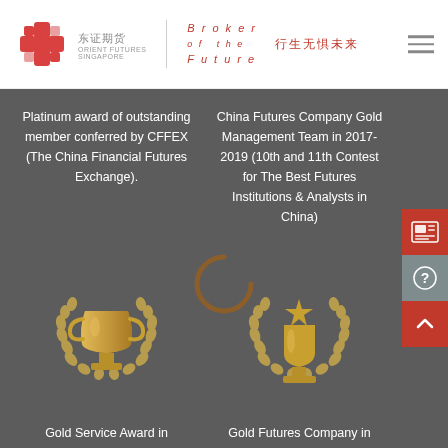[Figure (logo): Orient Futures Singapore logo with red geometric icon and Chinese text 东证期货, with 'Broker of the Future' tagline and Chinese slogan 行生无惧未来]
Platinum award of outstanding member conferred by CFFEX (The China Financial Futures Exchange).
China Futures Company Gold Management Team in 2017-2019 (10th and 11th Contest for The Best Futures Institutions & Analysts in China)
[Figure (illustration): Gold trophy with laurel wreath award icon]
[Figure (illustration): Gold star trophy with laurel wreath award icon]
Gold Service Award in
Gold Futures Company in